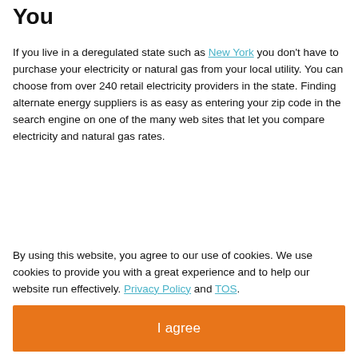You
If you live in a deregulated state such as New York you don't have to purchase your electricity or natural gas from your local utility. You can choose from over 240 retail electricity providers in the state. Finding alternate energy suppliers is as easy as entering your zip code in the search engine on one of the many web sites that let you compare electricity and natural gas rates.
By using this website, you agree to our use of cookies. We use cookies to provide you with a great experience and to help our website run effectively. Privacy Policy and TOS.
Finance Guru is an independent comparison site. We earn commissions for the placement of links and products on our site.
I agree